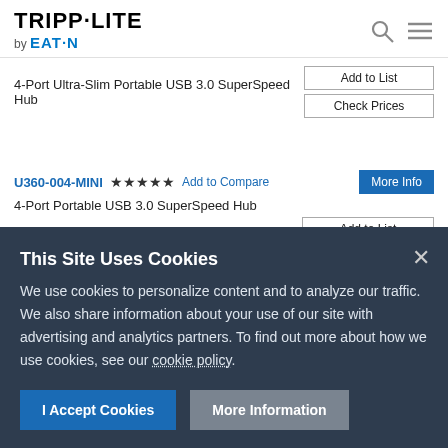TRIPP·LITE by EATON
4-Port Ultra-Slim Portable USB 3.0 SuperSpeed Hub
Add to List
Check Prices
U360-004-MINI ★★★★★ Add to Compare More Info
4-Port Portable USB 3.0 SuperSpeed Hub
Add to List
This Site Uses Cookies
We use cookies to personalize content and to analyze our traffic. We also share information about your use of our site with advertising and analytics partners. To find out more about how we use cookies, see our cookie policy.
I Accept Cookies
More Information